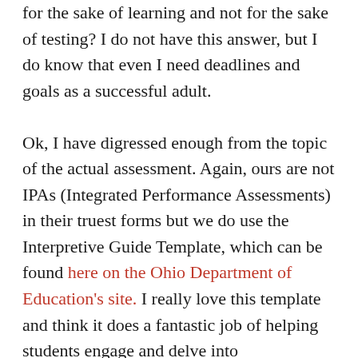for the sake of learning and not for the sake of testing? I do not have this answer, but I do know that even I need deadlines and goals as a successful adult.

Ok, I have digressed enough from the topic of the actual assessment. Again, ours are not IPAs (Integrated Performance Assessments) in their truest forms but we do use the Interpretive Guide Template, which can be found here on the Ohio Department of Education's site. I really love this template and think it does a fantastic job of helping students engage and delve into understanding a text. The set-up of the Interpretive Guide also assesses critical thinking skills that helps see world language learning in a true academic context, and yet at the same time when world language learning's context is as academically